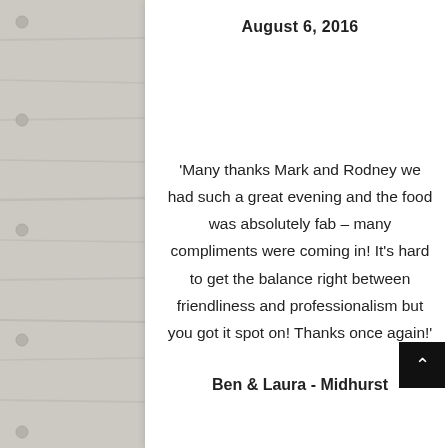August 6, 2016
'Many thanks Mark and Rodney we had such a great evening and the food was absolutely fab – many compliments were coming in! It's hard to get the balance right between friendliness and professionalism but you got it spot on! Thanks once again!'
Ben & Laura - Midhurst